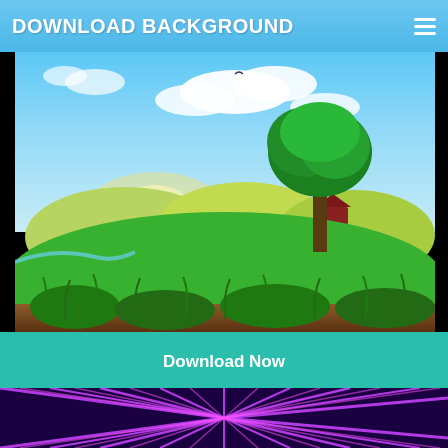DOWNLOAD BACKGROUND
[Figure (illustration): Anime landscape background with green grass hills, a large tree, blue sky with clouds, and brown soil foreground]
Download Now
How To Draw An Anime Background Landscape Speedpaint
[Figure (illustration): Dark purple/blue background with bright pink/magenta speed lines radiating from center]